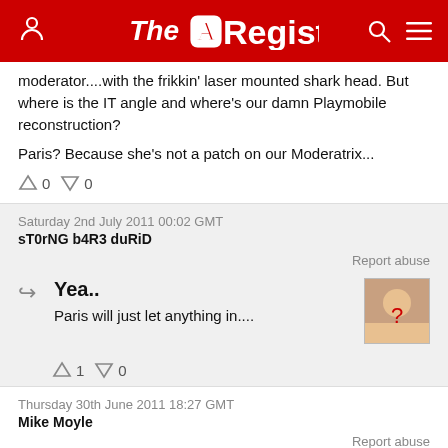The Register
moderator....with the frikkin' laser mounted shark head. But where is the IT angle and where's our damn Playmobile reconstruction?

Paris? Because she's not a patch on our Moderatrix...
↑0  ↓0
Saturday 2nd July 2011 00:02 GMT
sT0rNG b4R3 duRiD
Report abuse
Yea..
Paris will just let anything in....
↑1  ↓0
Thursday 30th June 2011 18:27 GMT
Mike Moyle
Report abuse